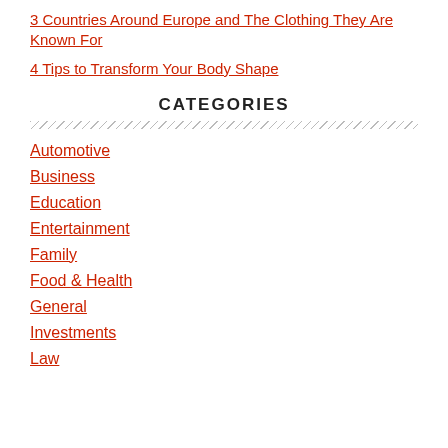3 Countries Around Europe and The Clothing They Are Known For
4 Tips to Transform Your Body Shape
CATEGORIES
Automotive
Business
Education
Entertainment
Family
Food & Health
General
Investments
Law